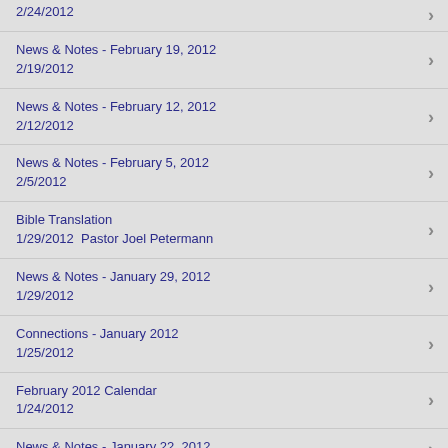2/24/2012
News & Notes - February 19, 2012
2/19/2012
News & Notes - February 12, 2012
2/12/2012
News & Notes - February 5, 2012
2/5/2012
Bible Translation
1/29/2012  Pastor Joel Petermann
News & Notes - January 29, 2012
1/29/2012
Connections - January 2012
1/25/2012
February 2012 Calendar
1/24/2012
News & Notes - January 22, 2012